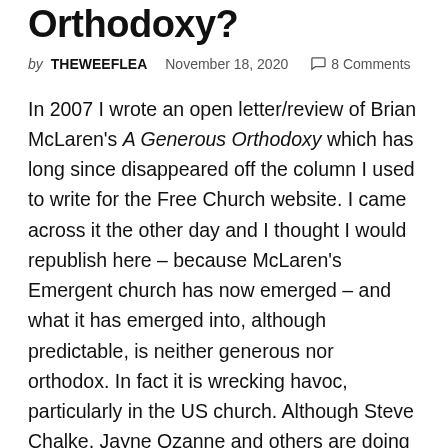Orthodoxy?
by THEWEEFLEA   November 18, 2020   💬 8 Comments
In 2007 I wrote an open letter/review of Brian McLaren's A Generous Orthodoxy which has long since disappeared off the column I used to write for the Free Church website.  I came across it the other day and I thought I would republish here – because McLaren's Emergent church has now emerged – and what it has emerged into, although predictable, is neither generous nor orthodox.  In fact it is wrecking havoc, particularly in the US church.   Although Steve Chalke, Jayne Ozanne and others are doing a good job of doing the same thing in the UK – with the same ideology.   At the time I recall being condemned for being too negative and yet I think time has justified